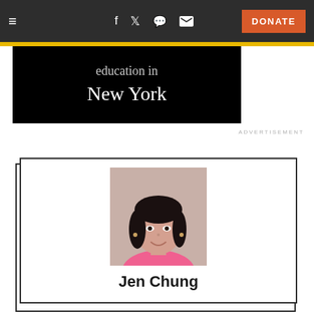≡  f  𝕏  🔴  ✉  DONATE
[Figure (screenshot): Advertisement banner with text 'education in New York' on black background]
ADVERTISEMENT
[Figure (photo): Profile photo of Jen Chung, a woman with dark hair wearing a pink top, smiling]
Jen Chung